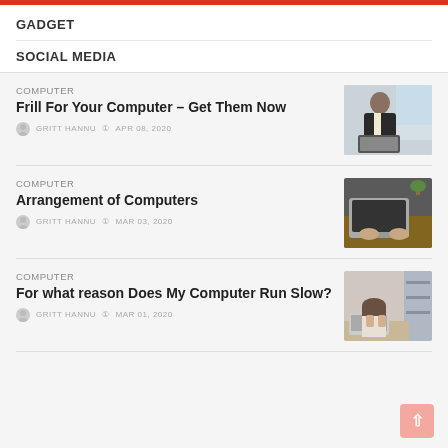GADGET
SOCIAL MEDIA
COMPUTER
Frill For Your Computer – Get Them Now
GRITT HANNU  APR 08, 2020
[Figure (photo): Man in suit working on a laptop at a desk near a window]
COMPUTER
Arrangement of Computers
GRITT HANNU  MAR 03, 2020
[Figure (photo): Hands typing on a laptop keyboard on a wooden desk]
COMPUTER
For what reason Does My Computer Run Slow?
GRITT HANNU  MAR 01, 2020
[Figure (photo): Woman looking stressed while working at a laptop with shelves in background]